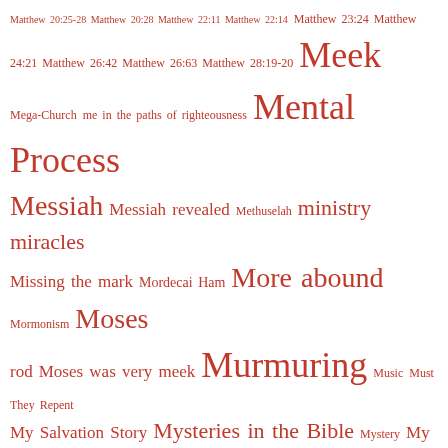Matthew 20:25-28 Matthew 20:28 Matthew 22:11 Matthew 22:14 Matthew 23:24 Matthew 24:21 Matthew 26:42 Matthew 26:63 Matthew 28:19-20 Meek Mega-Church me in the paths of righteousness Mental Process Messiah Messiah revealed Methuselah ministry miracles Missing the mark Mordecai Ham More abound Mormonism Moses rod Moses was very meek Murmuring Music Must They Repent My Salvation Story Mysteries in the Bible Mystery My story Narrow is the Way Nebuchadnezzar Nehemiah 9:15 Noah non-emotional love not working for Numbers 9:9 Numbers 12:3 Numbers 28:16 Numbers 35:16-18 Obedience Object Lessons obsessed Occupy old sayings Old Testament and Jesus Omnipotence Omnipotent Omnipresence Omnipresent Omniscience Omniscient once saved always saved Origen Or Lord OT Appearances of Jesus Ottoman Empire Our Father which art in heaven Ox pacifism Pacifist Paid in Full Paid it in Full Parables paradox parentheses passivity Passover Passover dinner Paul Paul's thorn in the fleash Paul vs. James Perspective perspectives of Christ First Coming Perspicuity Peter Pharisees Pharisees' Example Philippians 2: 5-8 Philippians 2:5-8 Philippians 2:9-11 Philippians 2:12-13 Philippians 3:4-6